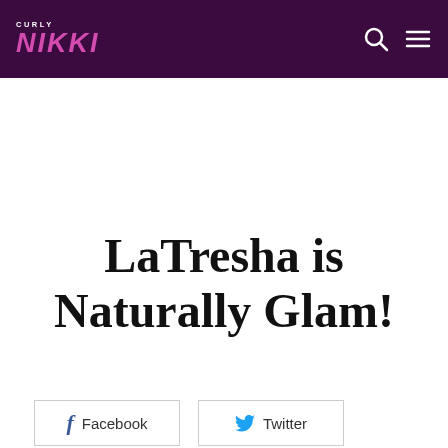CURLY NIKKI
LaTresha is Naturally Glam!
Facebook
Twitter